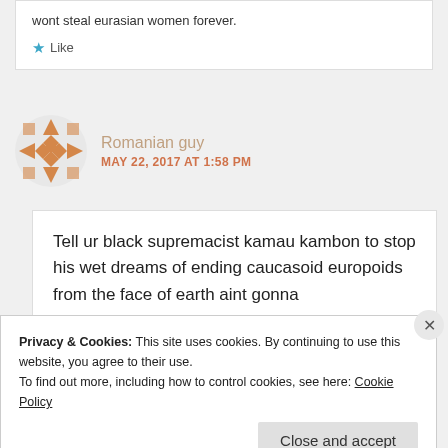wont steal eurasian women forever.
Like
Romanian guy
MAY 22, 2017 AT 1:58 PM
Tell ur black supremacist kamau kambon to stop his wet dreams of ending caucasoid europoids from the face of earth aint gonna
Privacy & Cookies: This site uses cookies. By continuing to use this website, you agree to their use.
To find out more, including how to control cookies, see here: Cookie Policy
Close and accept